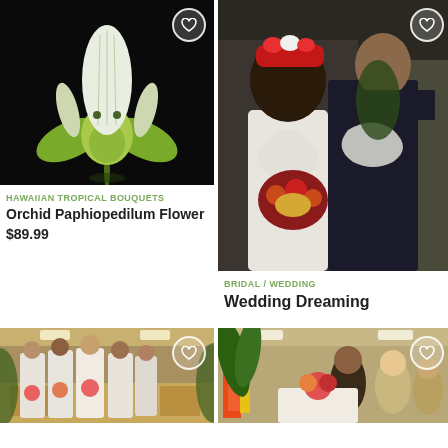[Figure (photo): Orchid Paphiopedilum flower on black background with heart icon]
HAWAIIAN TROPICAL BOUQUETS
Orchid Paphiopedilum Flower
$89.99
[Figure (photo): Wedding couple with flower leis and bridal bouquet]
BRIDAL / WEDDING
Wedding Dreaming
[Figure (photo): Bridesmaids group photo with bouquets in a venue]
[Figure (photo): Event photo with tropical flowers and guests]